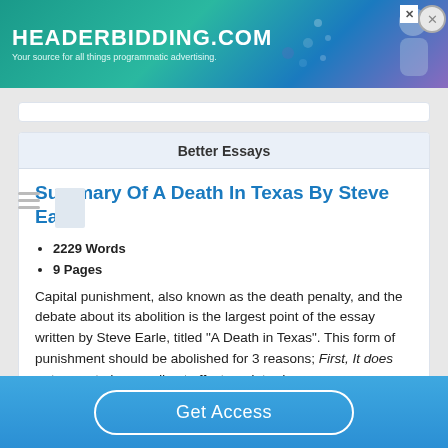[Figure (screenshot): Advertisement banner for headerbidding.com with teal/blue gradient background and decorative figure on right]
Better Essays
Summary Of A Death In Texas By Steve Earle
2229 Words
9 Pages
Capital punishment, also known as the death penalty, and the debate about its abolition is the largest point of the essay written by Steve Earle, titled "A Death in Texas". This form of punishment should be abolished for 3 reasons; First, It does not seem to have a direct effect on deterring
Get Access